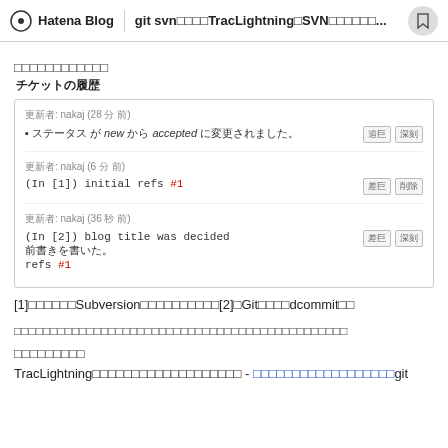Hatena Blog | git svn□□□TracLightning□SVN□□□□□...
□□□□□□□□□□□□
チケットの履歴
[Figure (screenshot): Trac ticket history box showing three entries from user nakaj with status changes and commit references]
[1]□□□□□□Subversion□□□□□□□□□□[2]□Git□□□□dcommit□□
□□□□□□□□□□□□□□□□□□□□□□□□□□□□□□□□□□□□□□□□□□□□□
□□□□□□□□□
TracLightning□□□□□□□□□□□□□□□□□□□ - □□□□□□□□□□□□□□□□□□git